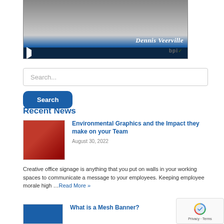[Figure (screenshot): Video thumbnail showing Dennis Veerville with BPI logo on a blue bar, with a play button control bar at the bottom]
Search...
Search
Recent News
[Figure (photo): Thumbnail photo of an office interior with red walls]
Environmental Graphics and the Impact they make on your Team
August 30, 2022
Creative office signage is anything that you put on walls in your working spaces to communicate a message to your employees. Keeping employee morale high …Read More »
What is a Mesh Banner?
[Figure (screenshot): reCAPTCHA badge with Privacy and Terms links]